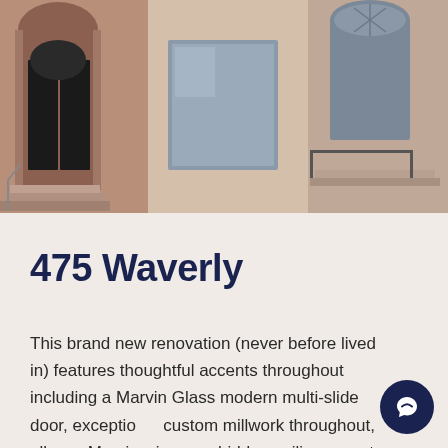[Figure (photo): Exterior photo of a brownstone building at 475 Waverly, showing arched doorways, large windows, stone facade, and steps leading to entrance]
475 Waverly
This brand new renovation (never before lived in) features thoughtful accents throughout including a Marvin Glass modern multi-slide door, exceptional custom millwork throughout, all new Marvin windows, hidden ceiling mount efficient multi zone split system